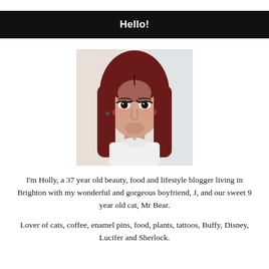Hello!
[Figure (photo): Portrait photo of a woman with long red/auburn hair, wearing a white turtleneck, with dramatic cat-eye makeup, resting her chin on her hand against a light background.]
I'm Holly, a 37 year old beauty, food and lifestyle blogger living in Brighton with my wonderful and gorgeous boyfriend, J, and our sweet 9 year old cat, Mr Bear.
Lover of cats, coffee, enamel pins, food, plants, tattoos, Buffy, Disney, Lucifer and Sherlock.